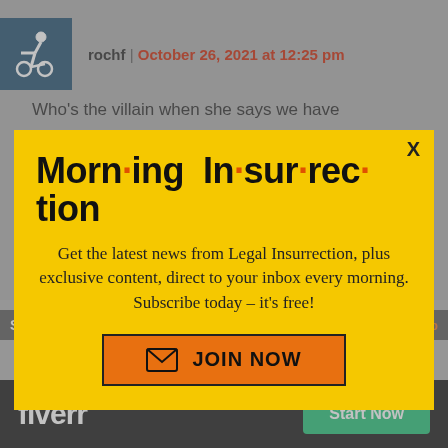rochf | October 26, 2021 at 12:25 pm
Who's the villain when she says we have
[Figure (screenshot): Morning Insurrection newsletter signup modal popup with yellow background, bold stylized title 'Morn·ing In·sur·rec·tion', subscription text, and JOIN NOW button]
Steven Brizel | October 26, 2021 at 12:26
This person is an obvious bigot who
[Figure (logo): Fiverr advertisement bar with white Fiverr logo on black background and green 'Start Now' button]